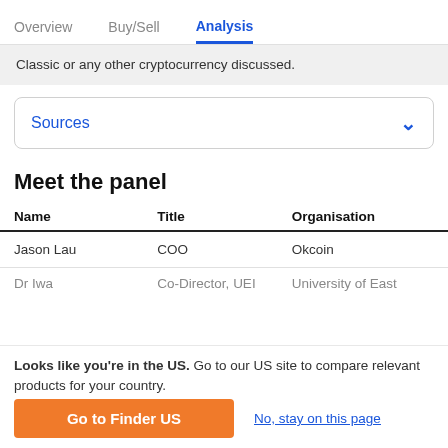Overview  Buy/Sell  Analysis
Classic or any other cryptocurrency discussed.
Sources
Meet the panel
| Name | Title | Organisation |
| --- | --- | --- |
| Jason Lau | COO | Okcoin |
| Dr Iwa | Co-Director, UEI | University of East |
Looks like you're in the US. Go to our US site to compare relevant products for your country.
Go to Finder US
No, stay on this page